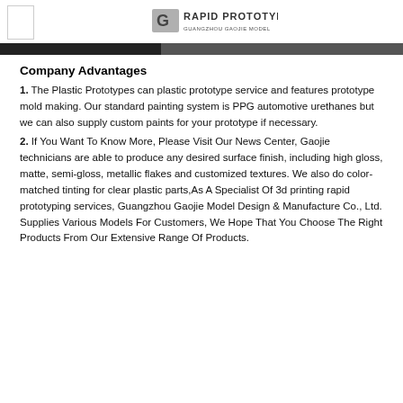Rapid Prototyping - Guangzhou Gaojie Model
Company Advantages
1. The Plastic Prototypes can plastic prototype service and features prototype mold making. Our standard painting system is PPG automotive urethanes but we can also supply custom paints for your prototype if necessary.
2. If You Want To Know More, Please Visit Our News Center, Gaojie technicians are able to produce any desired surface finish, including high gloss, matte, semi-gloss, metallic flakes and customized textures. We also do color-matched tinting for clear plastic parts,As A Specialist Of 3d printing rapid prototyping services, Guangzhou Gaojie Model Design & Manufacture Co., Ltd. Supplies Various Models For Customers, We Hope That You Choose The Right Products From Our Extensive Range Of Products.